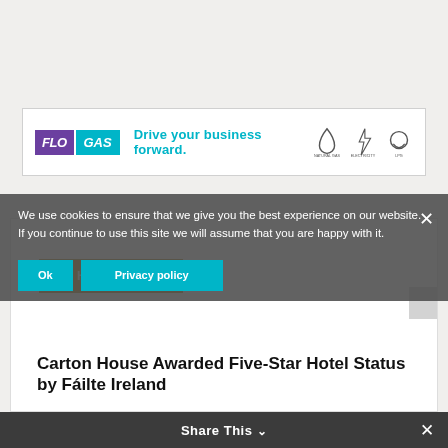[Figure (logo): FloGas advertisement banner: FLO GAS logo with tagline 'Drive your business forward.' and three icons for natural gas, electricity, and LPG]
Hotel News
Carton House Awarded Five-Star Hotel Status by Fáilte Ireland
Thursday, December 16, 2021
We use cookies to ensure that we give you the best experience on our website. If you continue to use this site we will assume that you are happy with it.
Ok    Privacy policy
Share This